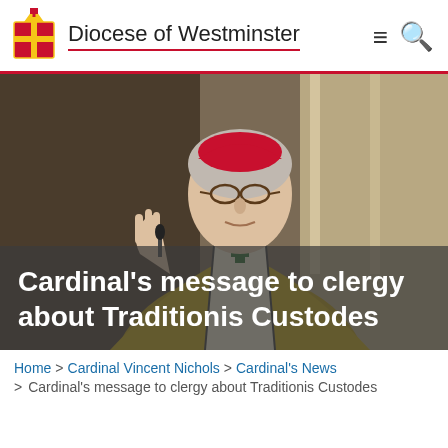Diocese of Westminster
[Figure (photo): Cardinal in vestments wearing red zucchetto, speaking at a microphone in an ornate church setting, dressed in gold and white vestments]
Cardinal's message to clergy about Traditionis Custodes
Home > Cardinal Vincent Nichols > Cardinal's News
> Cardinal's message to clergy about Traditionis Custodes